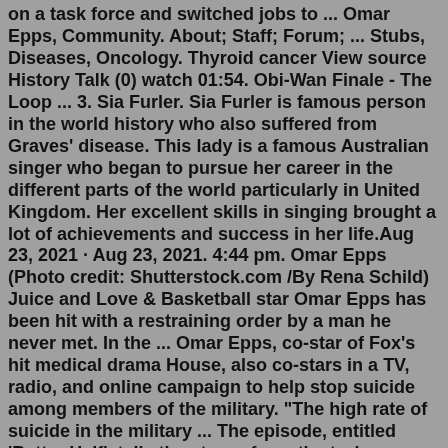on a task force and switched jobs to ... Omar Epps, Community. About; Staff; Forum; ... Stubs, Diseases, Oncology. Thyroid cancer View source History Talk (0) watch 01:54. Obi-Wan Finale - The Loop ... 3. Sia Furler. Sia Furler is famous person in the world history who also suffered from Graves' disease. This lady is a famous Australian singer who began to pursue her career in the different parts of the world particularly in United Kingdom. Her excellent skills in singing brought a lot of achievements and success in her life.Aug 23, 2021 · Aug 23, 2021. 4:44 pm. Omar Epps (Photo credit: Shutterstock.com /By Rena Schild) Juice and Love & Basketball star Omar Epps has been hit with a restraining order by a man he never met. In the ... Omar Epps, co-star of Fox's hit medical drama House, also co-stars in a TV, radio, and online campaign to help stop suicide among members of the military. "The high rate of suicide in the military ... The episode, entitled 'Better Half', tells the story of a patient who checks into the hospital in order to begin taking a drug for Alzheimer's disease.